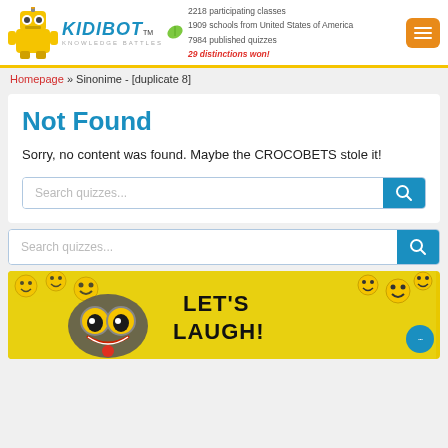KIDIBOT™ | 2218 participating classes · 1909 schools from United States of America · 7984 published quizzes · 29 distinctions won!
Homepage » Sinonime - [duplicate 8]
Not Found
Sorry, no content was found. Maybe the CROCOBETS stole it!
Search quizzes...
Search quizzes...
[Figure (illustration): Banner image with smiley faces and text 'LET'S LAUGH!']